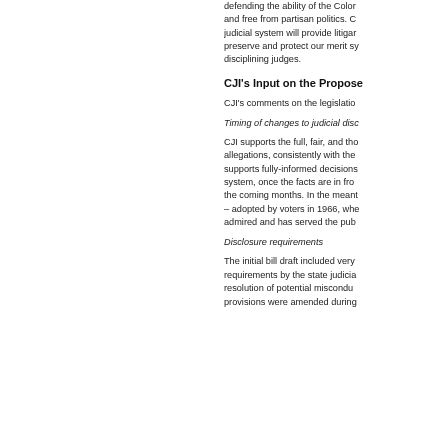defending the ability of the Colorado judiciary to remain independent and free from partisan politics. CJI believes that a fair and impartial judicial system will provide litigants justice. CJI will continue to preserve and protect our merit system by evaluating and disciplining judges.
CJI's Input on the Proposed
CJI's comments on the legislation:
Timing of changes to judicial disc
CJI supports the full, fair, and thorough investigation of allegations, consistently with the due process rights of judges, and supports fully-informed decisions about changes to the disciplinary system, once the facts are in from ongoing investigations in the coming months. In the meantime, the existing system – adopted by voters in 1966, when the system was widely admired and has served the pub
Disclosure requirements
The initial bill draft included very broad disclosure requirements by the state judiciary of information about resolution of potential misconduct complaints. These provisions were amended during